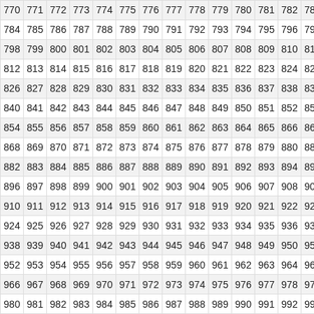| 770 | 771 | 772 | 773 | 774 | 775 | 776 | 777 | 778 | 779 | 780 | 781 | 782 | 783 |
| 784 | 785 | 786 | 787 | 788 | 789 | 790 | 791 | 792 | 793 | 794 | 795 | 796 | 797 |
| 798 | 799 | 800 | 801 | 802 | 803 | 804 | 805 | 806 | 807 | 808 | 809 | 810 | 811 |
| 812 | 813 | 814 | 815 | 816 | 817 | 818 | 819 | 820 | 821 | 822 | 823 | 824 | 825 |
| 826 | 827 | 828 | 829 | 830 | 831 | 832 | 833 | 834 | 835 | 836 | 837 | 838 | 839 |
| 840 | 841 | 842 | 843 | 844 | 845 | 846 | 847 | 848 | 849 | 850 | 851 | 852 | 853 |
| 854 | 855 | 856 | 857 | 858 | 859 | 860 | 861 | 862 | 863 | 864 | 865 | 866 | 867 |
| 868 | 869 | 870 | 871 | 872 | 873 | 874 | 875 | 876 | 877 | 878 | 879 | 880 | 881 |
| 882 | 883 | 884 | 885 | 886 | 887 | 888 | 889 | 890 | 891 | 892 | 893 | 894 | 895 |
| 896 | 897 | 898 | 899 | 900 | 901 | 902 | 903 | 904 | 905 | 906 | 907 | 908 | 909 |
| 910 | 911 | 912 | 913 | 914 | 915 | 916 | 917 | 918 | 919 | 920 | 921 | 922 | 923 |
| 924 | 925 | 926 | 927 | 928 | 929 | 930 | 931 | 932 | 933 | 934 | 935 | 936 | 937 |
| 938 | 939 | 940 | 941 | 942 | 943 | 944 | 945 | 946 | 947 | 948 | 949 | 950 | 951 |
| 952 | 953 | 954 | 955 | 956 | 957 | 958 | 959 | 960 | 961 | 962 | 963 | 964 | 965 |
| 966 | 967 | 968 | 969 | 970 | 971 | 972 | 973 | 974 | 975 | 976 | 977 | 978 | 979 |
| 980 | 981 | 982 | 983 | 984 | 985 | 986 | 987 | 988 | 989 | 990 | 991 | 992 | 993 |